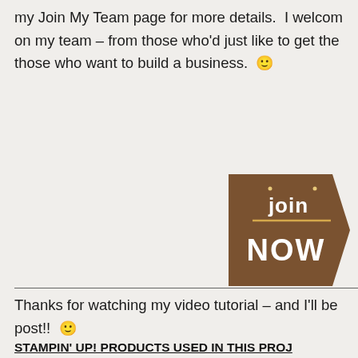my Join My Team page for more details. I welcome everyone on my team – from those who'd just like to get the discount to those who want to build a business. 🙂
[Figure (illustration): Brown banner-style 'join NOW' button graphic with notched right edge]
Thanks for watching my video tutorial – and I'll be back to post!! 🙂

TTFN

Mary
STAMPIN' UP! PRODUCTS USED IN THIS PROJ…